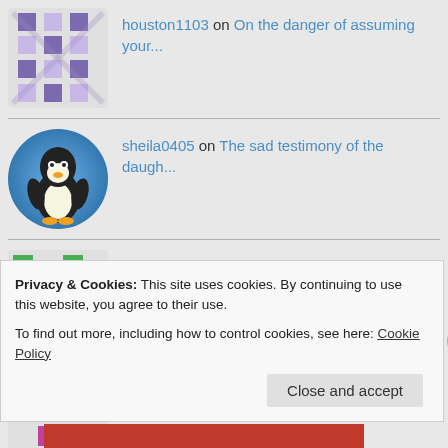houston1103 on On the danger of assuming your...
sheila0405 on The sad testimony of the daugh...
Gerry Nickerson on The sad testimony of the daugh...
traxus on On the feeling of a lonesome b...
Oscar César Del Sant... on Can progressives be fundamenta...
ARCHIVES
Privacy & Cookies: This site uses cookies. By continuing to use this website, you agree to their use.
To find out more, including how to control cookies, see here: Cookie Policy
Close and accept